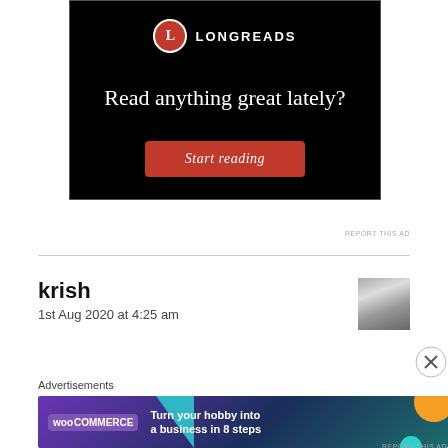[Figure (screenshot): Longreads advertisement with black background, red circle logo with 'L', text 'Read anything great lately?' and a red 'Start reading' button]
REPORT THIS AD
krish
1st Aug 2020 at 4:25 am
[Figure (photo): Small avatar/thumbnail image]
Advertisements
[Figure (screenshot): WooCommerce advertisement: 'Turn your hobby into a business in 8 steps' on dark purple/teal background with decorative shapes]